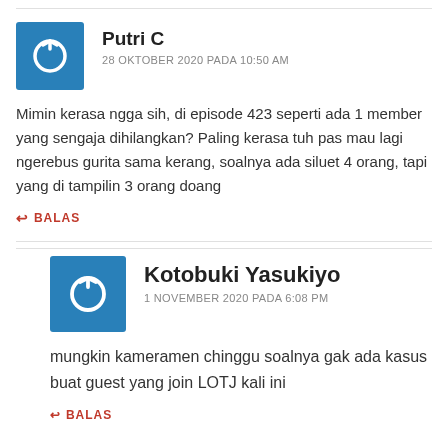Putri C
28 OKTOBER 2020 PADA 10:50 AM
Mimin kerasa ngga sih, di episode 423 seperti ada 1 member yang sengaja dihilangkan? Paling kerasa tuh pas mau lagi ngerebus gurita sama kerang, soalnya ada siluet 4 orang, tapi yang di tampilin 3 orang doang
BALAS
Kotobuki Yasukiyo
1 NOVEMBER 2020 PADA 6:08 PM
mungkin kameramen chinggu soalnya gak ada kasus buat guest yang join LOTJ kali ini
BALAS